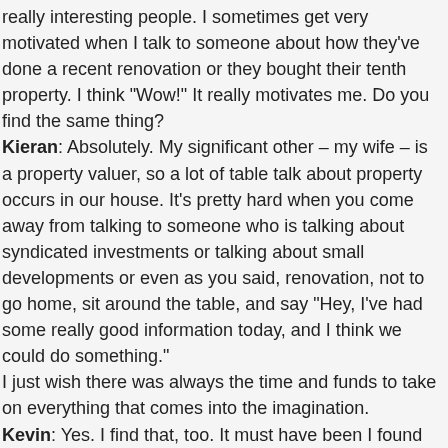really interesting people. I sometimes get very motivated when I talk to someone about how they've done a recent renovation or they bought their tenth property. I think "Wow!" It really motivates me. Do you find the same thing?
Kieran: Absolutely. My significant other – my wife – is a property valuer, so a lot of table talk about property occurs in our house. It's pretty hard when you come away from talking to someone who is talking about syndicated investments or talking about small developments or even as you said, renovation, not to go home, sit around the table, and say "Hey, I've had some really good information today, and I think we could do something."
I just wish there was always the time and funds to take on everything that comes into the imagination.
Kevin: Yes. I find that, too. It must have been I found that as a real estate agent, as well, going out and seeing so many great properties, there were so many that I wanted to buy, but you just simply can't do them.